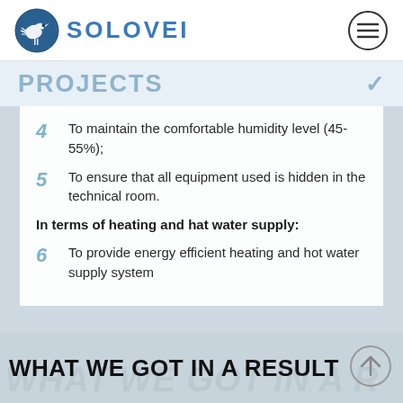SOLOVEI
PROJECTS
4  To maintain the comfortable humidity level (45-55%);
5  To ensure that all equipment used is hidden in the technical room.
In terms of heating and hat water supply:
6  To provide energy efficient heating and hot water supply system
WHAT WE GOT IN A RESULT